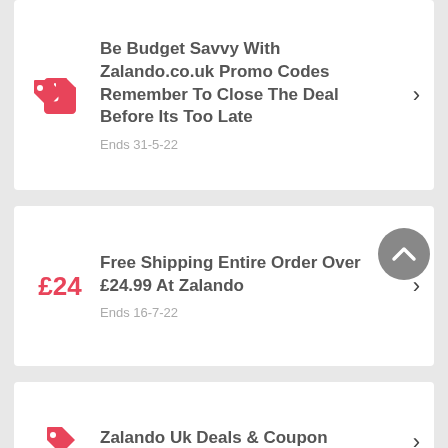Be Budget Savvy With Zalando.co.uk Promo Codes Remember To Close The Deal Before Its Too Late
Ends 31-5-22
Free Shipping Entire Order Over £24.99 At Zalando
Ends 16-7-22
Zalando Uk Deals & Coupon